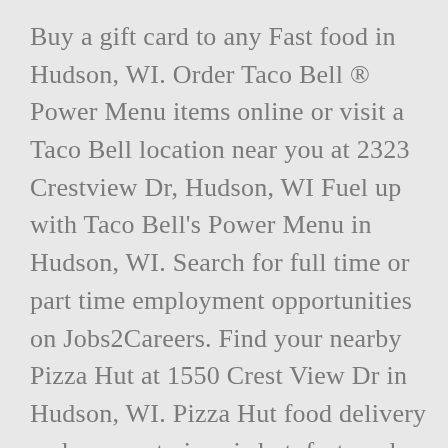Buy a gift card to any Fast food in Hudson, WI. Order Taco Bell ® Power Menu items online or visit a Taco Bell location near you at 2323 Crestview Dr, Hudson, WI Fuel up with Taco Bell's Power Menu in Hudson, WI. Search for full time or part time employment opportunities on Jobs2Careers. Find your nearby Pizza Hut at 1550 Crest View Dr in Hudson, WI. Pizza Hut food delivery and carryout pizza is hot, fast, and reliable! Hudson, WI 54016 (715) 808-0907 (715) 808-0907. Next . Visit your local Chipotle Mexican Grill restaurants at 1021 Pearson Dr in Hudson, WI to enjoy responsibly sourced and freshly prepared burritos, burrito bowls, salads, and tacos. Taco Bell ® Menu in Hudson, WI O...